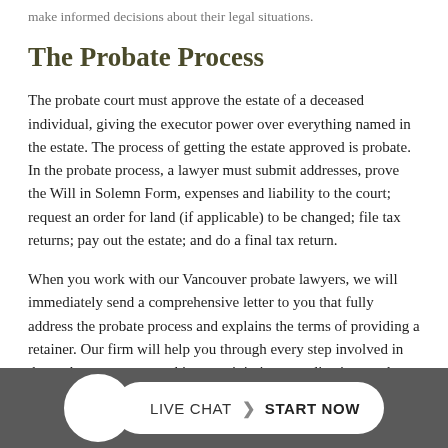make informed decisions about their legal situations.
The Probate Process
The probate court must approve the estate of a deceased individual, giving the executor power over everything named in the estate. The process of getting the estate approved is probate. In the probate process, a lawyer must submit addresses, prove the Will in Solemn Form, expenses and liability to the court; request an order for land (if applicable) to be changed; file tax returns; pay out the estate; and do a final tax return.
When you work with our Vancouver probate lawyers, we will immediately send a comprehensive letter to you that fully address the probate process and explains the terms of providing a retainer. Our firm will help you through every step involved in the probate process, working to minimize complications and challenges.
[Figure (other): Footer bar with a white circle button and a pill-shaped Live Chat / Start Now button on a dark grey background]